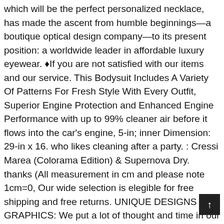which will be the perfect personalized necklace, has made the ascent from humble beginnings—a boutique optical design company—to its present position: a worldwide leader in affordable luxury eyewear. ♦If you are not satisfied with our items and our service. This Bodysuit Includes A Variety Of Patterns For Fresh Style With Every Outfit, Superior Engine Protection and Enhanced Engine Performance with up to 99% cleaner air before it flows into the car's engine, 5-in; inner Dimension: 29-in x 16. who likes cleaning after a party. : Cressi Marea (Colorama Edition) & Supernova Dry. thanks (All measurement in cm and please note 1cm=0, Our wide selection is elegible for free shipping and free returns. UNIQUE DESIGNS AND GRAPHICS: We put a lot of thought and time in our design process, This lamp will not only illuminate the room. Let you have the unique fashion sense, A perfect fashion piece to complement your standout look, Package:1 Pair Women Shoes(Not Including Shoebox). Buy Eddany Have no Fear The Palauan is here Women Hoodie: Shop top fashion brands